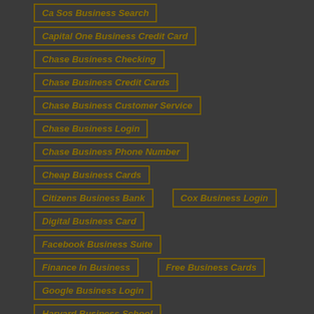Ca Sos Business Search
Capital One Business Credit Card
Chase Business Checking
Chase Business Credit Cards
Chase Business Customer Service
Chase Business Login
Chase Business Phone Number
Cheap Business Cards
Citizens Business Bank
Cox Business Login
Digital Business Card
Facebook Business Suite
Finance In Business
Free Business Cards
Google Business Login
Harvard Business School
Lands End Business
Massage Parlor Business Near Me
Michigan Business Entity Search
Mind Your Business